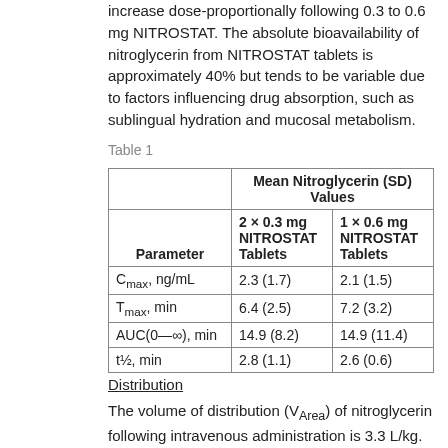increase dose-proportionally following 0.3 to 0.6 mg NITROSTAT. The absolute bioavailability of nitroglycerin from NITROSTAT tablets is approximately 40% but tends to be variable due to factors influencing drug absorption, such as sublingual hydration and mucosal metabolism.
Table 1
| Parameter | Mean Nitroglycerin (SD) Values |  |
| --- | --- | --- |
|  | 2 × 0.3 mg NITROSTAT Tablets | 1 × 0.6 mg NITROSTAT Tablets |
| Cmax, ng/mL | 2.3 (1.7) | 2.1 (1.5) |
| Tmax, min | 6.4 (2.5) | 7.2 (3.2) |
| AUC(0–∞), min | 14.9 (8.2) | 14.9 (11.4) |
| t½, min | 2.8 (1.1) | 2.6 (0.6) |
Distribution
The volume of distribution (VArea) of nitroglycerin following intravenous administration is 3.3 L/kg. At plasma concentrations between 50 and 500 ng/mL, the binding of nitroglycerin to plasma proteins is